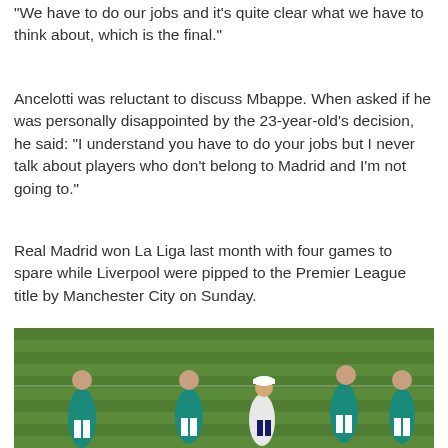"We have to do our jobs and it's quite clear what we have to think about, which is the final."
Ancelotti was reluctant to discuss Mbappe. When asked if he was personally disappointed by the 23-year-old's decision, he said: "I understand you have to do your jobs but I never talk about players who don't belong to Madrid and I'm not going to."
Real Madrid won La Liga last month with four games to spare while Liverpool were pipped to the Premier League title by Manchester City on Sunday.
[Figure (photo): Real Madrid manager Carlo Ancelotti in a white tracksuit walks among players in teal/turquoise training kits on a green grass training pitch.]